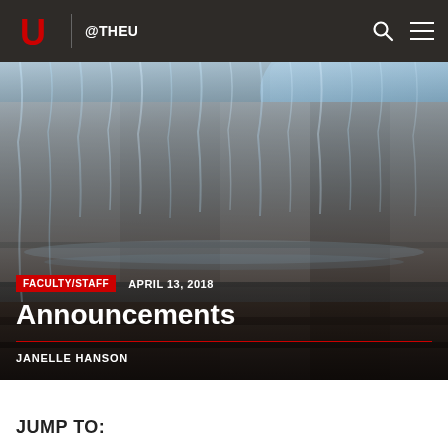@THEU
[Figure (photo): Waterfall cascading over stone blocks with blue sky visible in upper right corner — outdoor campus water feature]
FACULTY/STAFF   APRIL 13, 2018
Announcements
JANELLE HANSON
JUMP TO: